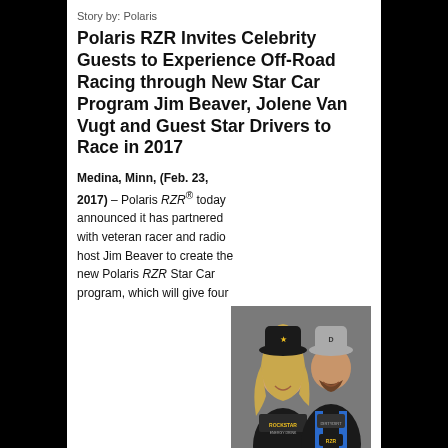Story by: Polaris
Polaris RZR Invites Celebrity Guests to Experience Off-Road Racing through New Star Car Program Jim Beaver, Jolene Van Vugt and Guest Star Drivers to Race in 2017
Medina, Minn, (Feb. 23, 2017) – Polaris RZR® today announced it has partnered with veteran racer and radio host Jim Beaver to create the new Polaris RZR Star Car program, which will give four celebrity guests a taste of off-road racing during select Best in the Desert races.
[Figure (photo): Jolene Van Vugt and Jim Beaver in racing suits posing together, woman in black Rockstar Energy Drink racing suit with hat, man in black and blue racing suit with grey hat]